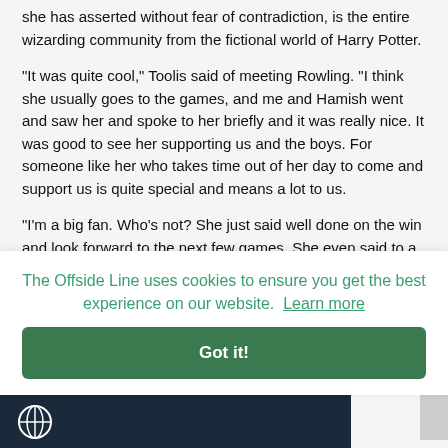she has asserted without fear of contradiction, is the entire wizarding community from the fictional world of Harry Potter.
“It was quite cool,” Toolis said of meeting Rowling. “I think she usually goes to the games, and me and Hamish went and saw her and spoke to her briefly and it was really nice. It was good to see her supporting us and the boys. For someone like her who takes time out of her day to come and support us is quite special and means a lot to us.
“I’m a big fan. Who’s not? She just said well done on the win and look forward to the next few games. She even said to a
The Offside Line uses cookies to ensure you get the best experience on our website.  Learn more
Got it!